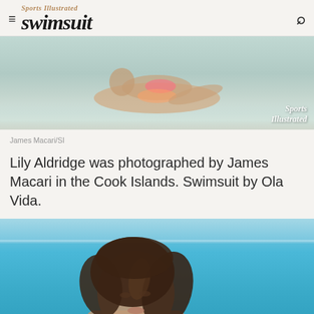Sports Illustrated Swimsuit
[Figure (photo): Woman in bikini lying on beach/shallow water, Sports Illustrated watermark in bottom right]
James Macari/SI
Lily Aldridge was photographed by James Macari in the Cook Islands. Swimsuit by Ola Vida.
[Figure (photo): Portrait of woman with brown hair looking over shoulder with ocean/pool background]